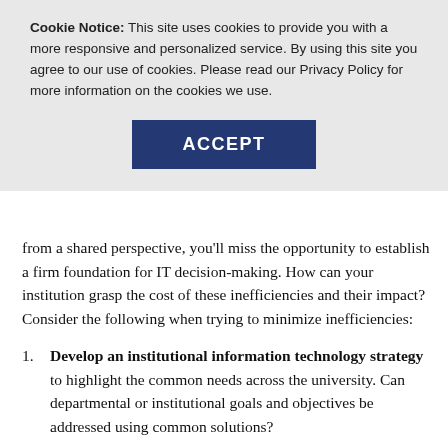Cookie Notice: This site uses cookies to provide you with a more responsive and personalized service. By using this site you agree to our use of cookies. Please read our Privacy Policy for more information on the cookies we use.
ACCEPT
from a shared perspective, you'll miss the opportunity to establish a firm foundation for IT decision-making. How can your institution grasp the cost of these inefficiencies and their impact? Consider the following when trying to minimize inefficiencies:
Develop an institutional information technology strategy to highlight the common needs across the university. Can departmental or institutional goals and objectives be addressed using common solutions?
Develop a comprehensive IT application inventory